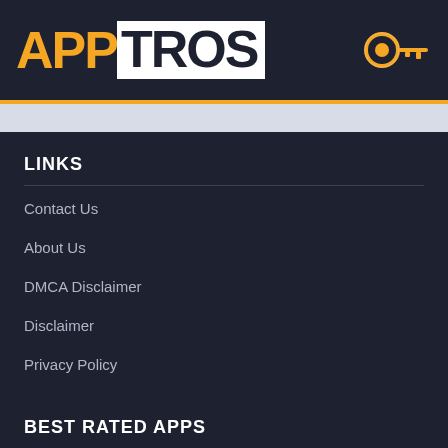APPTROS
LINKS
Contact Us
About Us
DMCA Disclaimer
Disclaimer
Privacy Policy
BEST RATED APPS